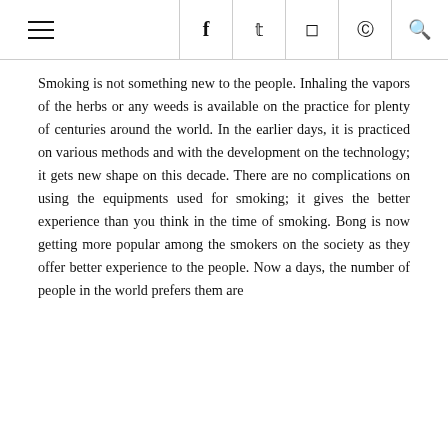≡  f  𝕥  📷  p  🔍
Smoking is not something new to the people. Inhaling the vapors of the herbs or any weeds is available on the practice for plenty of centuries around the world. In the earlier days, it is practiced on various methods and with the development on the technology; it gets new shape on this decade. There are no complications on using the equipments used for smoking; it gives the better experience than you think in the time of smoking. Bong is now getting more popular among the smokers on the society as they offer better experience to the people. Now a days, the number of people in the world prefers them are